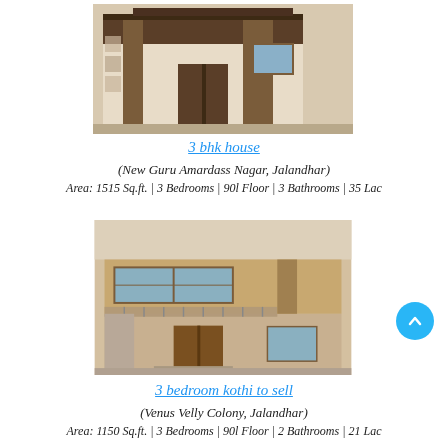[Figure (photo): Exterior photo of a modern 3 BHK house with brown wooden gate and textured facade, Jalandhar]
3 bhk house
(New Guru Amardass Nagar, Jalandhar)
Area: 1515 Sq.ft. | 3 Bedrooms | 90l Floor | 3 Bathrooms | 35 Lac
[Figure (photo): Exterior photo of a 3 bedroom kothi with balcony, wooden doors and stone cladding, Jalandhar]
3 bedroom kothi to sell
(Venus Velly Colony, Jalandhar)
Area: 1150 Sq.ft. | 3 Bedrooms | 90l Floor | 2 Bathrooms | 21 Lac